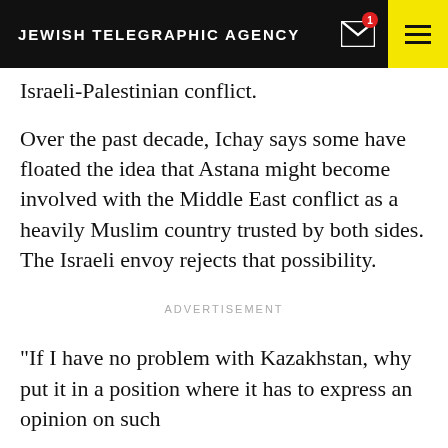JEWISH TELEGRAPHIC AGENCY
Israeli-Palestinian conflict.
Over the past decade, Ichay says some have floated the idea that Astana might become involved with the Middle East conflict as a heavily Muslim country trusted by both sides. The Israeli envoy rejects that possibility.
ADVERTISEMENT
“If I have no problem with Kazakhstan, why put it in a position where it has to express an opinion on such